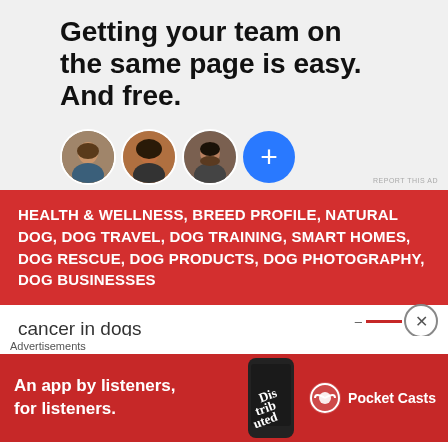[Figure (illustration): Advertisement banner with bold text 'Getting your team on the same page is easy. And free.' and three circular avatar photos plus a blue plus button on a light grey background]
REPORT THIS AD
HEALTH & WELLNESS, BREED PROFILE, NATURAL DOG, DOG TRAVEL, DOG TRAINING, SMART HOMES, DOG RESCUE, DOG PRODUCTS, DOG PHOTOGRAPHY, DOG BUSINESSES
cancer in dogs
Canine Businesses
[Figure (illustration): Bottom advertisement for Pocket Casts - 'An app by listeners, for listeners.' on red background with phone image and Pocket Casts logo]